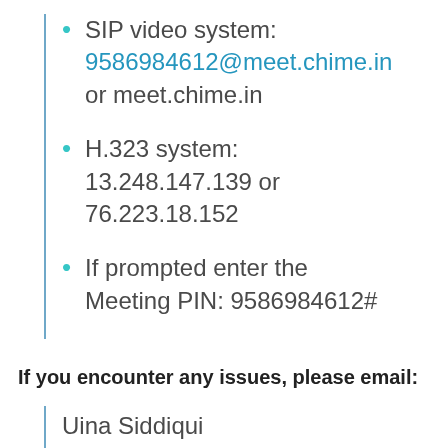SIP video system: 9586984612@meet.chime.in or meet.chime.in
H.323 system: 13.248.147.139 or 76.223.18.152
If prompted enter the Meeting PIN: 9586984612#
If you encounter any issues, please email:
Uina Siddiqui